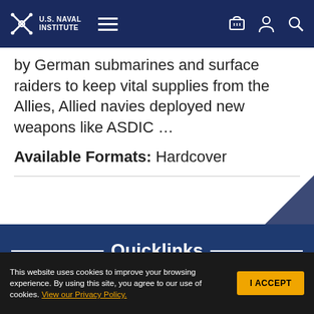U.S. Naval Institute
by German submarines and surface raiders to keep vital supplies from the Allies, Allied navies deployed new weapons like ASDIC …
Available Formats: Hardcover
Quicklinks
About the Naval Institute
This website uses cookies to improve your browsing experience. By using this site, you agree to our use of cookies. View our Privacy Policy.